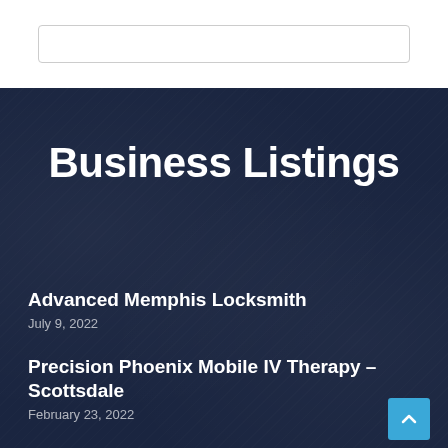[Figure (other): Search bar input field at top of page]
Business Listings
Advanced Memphis Locksmith
July 9, 2022
Precision Phoenix Mobile IV Therapy – Scottsdale
February 23, 2022